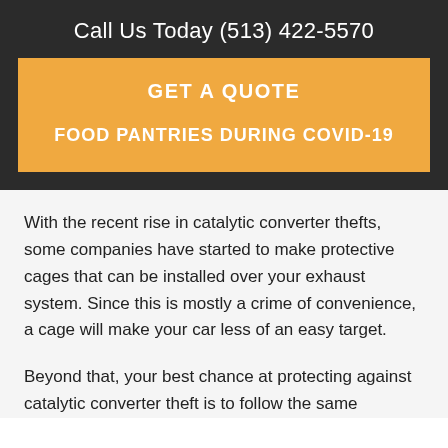Call Us Today (513) 422-5570
GET A QUOTE
FOOD PANTRIES DURING COVID-19
With the recent rise in catalytic converter thefts, some companies have started to make protective cages that can be installed over your exhaust system. Since this is mostly a crime of convenience, a cage will make your car less of an easy target.
Beyond that, your best chance at protecting against catalytic converter theft is to follow the same